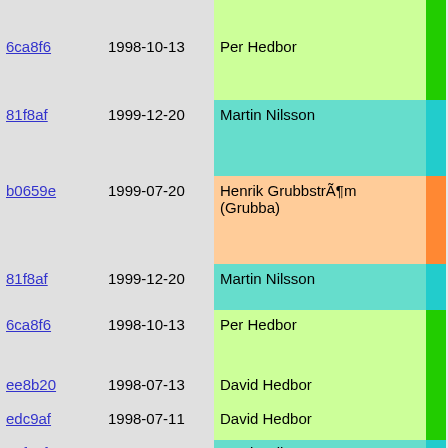| hash | date | author | bar | code |
| --- | --- | --- | --- | --- |
| 6ca8f6 | 1998-10-13 | Per Hedbor |  | signal(s
  l |
| 81f8af | 1999-12-20 | Martin Nilsson |  |  |
| b0659e | 1999-07-20 | Henrik GrubbstrÃ¶m (Grubba) |  |  |
| 81f8af | 1999-12-20 | Martin Nilsson |  |  |
| 6ca8f6 | 1998-10-13 | Per Hedbor |  | } |
| ee8b20 | 1998-07-13 | David Hedbor |  | alarm (6 |
| edc9af | 1998-07-11 | David Hedbor |  | } |
| 81f8af | 1999-12-20 | Martin Nilsson |  | void post_ |
| 6ca8f6 | 1998-10-13 | Per Hedbor |  | { |
| ee8b20 | 1998-07-13 | David Hedbor |  | if (QUER
  call_o |
| edc9af | 1998-07-11 | David Hedbor |  | if (QUER |